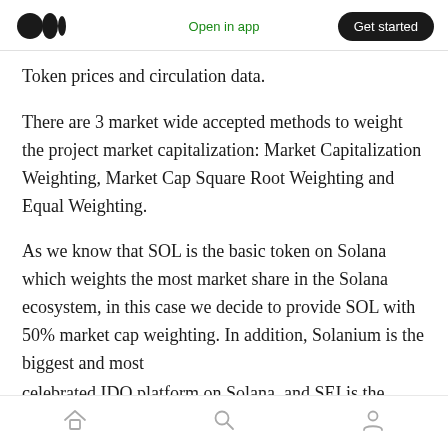Medium logo | Open in app | Get started
Token prices and circulation data.
There are 3 market wide accepted methods to weight the project market capitalization: Market Capitalization Weighting, Market Cap Square Root Weighting and Equal Weighting.
As we know that SOL is the basic token on Solana which weights the most market share in the Solana ecosystem, in this case we decide to provide SOL with 50% market cap weighting. In addition, Solanium is the biggest and most celebrated IDO platform on Solana, and SEI is the
Home | Search | Profile